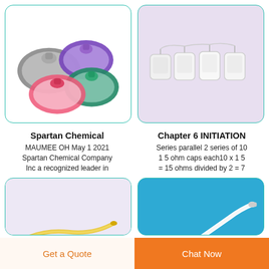[Figure (photo): Medical face masks in multiple colors: gray, purple, teal, pink, on white background]
[Figure (photo): Four small medical cap devices in a row on lavender background]
Spartan Chemical
MAUMEE OH May 1 2021 Spartan Chemical Company Inc a recognized leader in
Chapter 6 INITIATION
Series parallel 2 series of 10 1 5 ohm caps each10 x 1 5 = 15 ohms divided by 2 = 7
[Figure (photo): Yellow catheter tube on lavender/purple background]
[Figure (photo): White medical tube/catheter on blue background]
Get a Quote
Chat Now